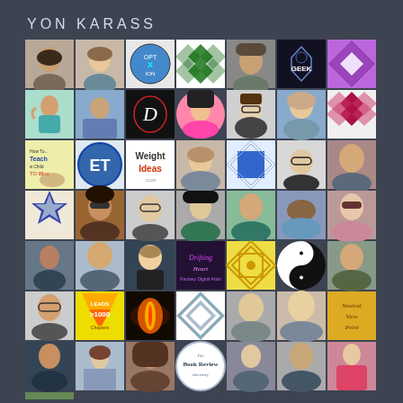YON KARASS
[Figure (photo): Grid of profile photos and avatar icons arranged in 7 columns and multiple rows on a dark gray background, showing various people's profile pictures, logos, and illustrated avatars]